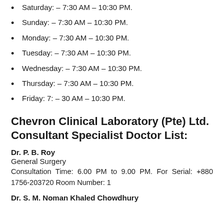Saturday: – 7:30 AM – 10:30 PM.
Sunday: – 7:30 AM – 10:30 PM.
Monday: – 7:30 AM – 10:30 PM.
Tuesday: – 7:30 AM – 10:30 PM.
Wednesday: – 7:30 AM – 10:30 PM.
Thursday: – 7:30 AM – 10:30 PM.
Friday: 7: – 30 AM – 10:30 PM.
Chevron Clinical Laboratory (Pte) Ltd. Consultant Specialist Doctor List:
Dr. P. B. Roy
General Surgery
Consultation Time: 6.00 PM to 9.00 PM. For Serial: +880 1756-203720 Room Number: 1
Dr. S. M. Noman Khaled Chowdhury